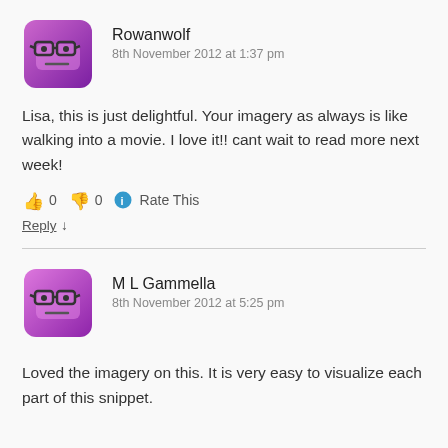[Figure (illustration): Purple square cartoon avatar with glasses and neutral expression]
Rowanwolf
8th November 2012 at 1:37 pm
Lisa, this is just delightful. Your imagery as always is like walking into a movie. I love it!! cant wait to read more next week!
👍 0 👎 0 ℹ Rate This
Reply ↓
[Figure (illustration): Purple square cartoon avatar with glasses and neutral expression]
M L Gammella
8th November 2012 at 5:25 pm
Loved the imagery on this. It is very easy to visualize each part of this snippet.